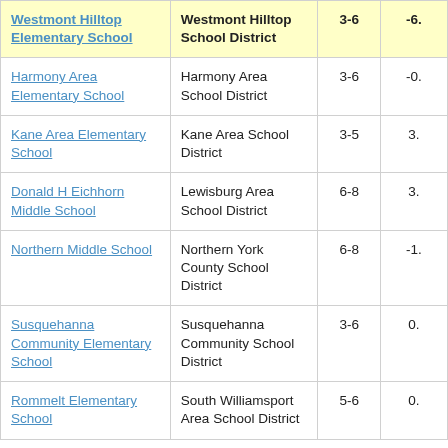| Westmont Hilltop Elementary School | Westmont Hilltop School District | 3-6 | -6. |
| Harmony Area Elementary School | Harmony Area School District | 3-6 | -0. |
| Kane Area Elementary School | Kane Area School District | 3-5 | 3. |
| Donald H Eichhorn Middle School | Lewisburg Area School District | 6-8 | 3. |
| Northern Middle School | Northern York County School District | 6-8 | -1. |
| Susquehanna Community Elementary School | Susquehanna Community School District | 3-6 | 0. |
| Rommelt Elementary School | South Williamsport Area School District | 5-6 | 0. |